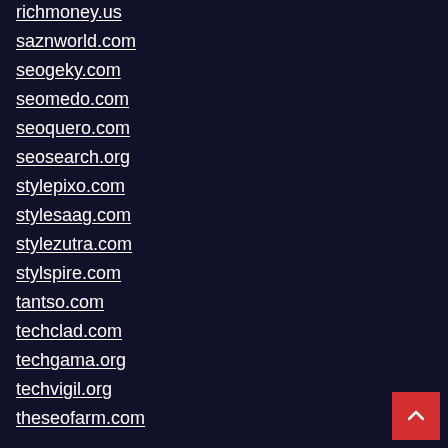richmoney.us
saznworld.com
seogeky.com
seomedo.com
seoquero.com
seosearch.org
stylepixo.com
stylesaag.com
stylezutra.com
stylspire.com
tantso.com
techclad.com
techgama.org
techvigil.org
theseofarm.com